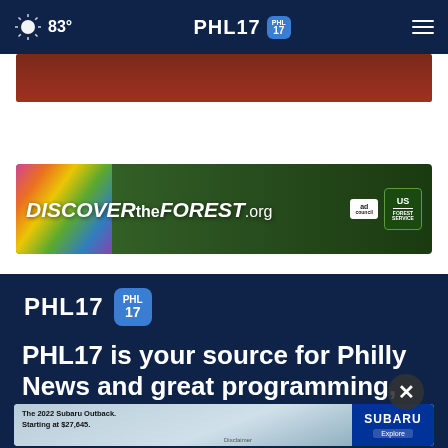83° PHL17 [navigation bar]
[Figure (screenshot): Top red/brown advertisement banner, partially cut off]
[Figure (screenshot): DiscovertheForest.org advertisement banner with colorful flowers, forest background, Ad Council and US Forest Service logos]
[Figure (logo): PHL17 logo with blue badge showing PHL/17]
PHL17 is your source for Philly News and great programming, like PHL17 Morning News, We...
[Figure (screenshot): Subaru Outback advertisement overlay with close button: The 2022 Subaru Outback. Starting at $27,645. Explore. Subaru logo.]